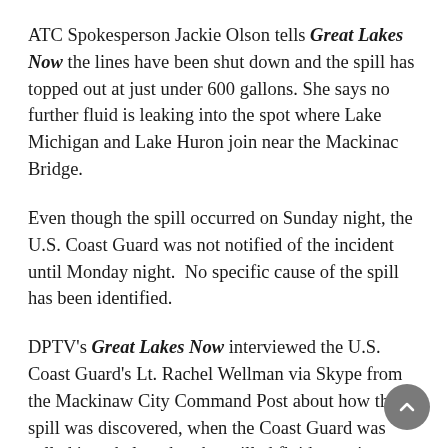ATC Spokesperson Jackie Olson tells Great Lakes Now the lines have been shut down and the spill has topped out at just under 600 gallons. She says no further fluid is leaking into the spot where Lake Michigan and Lake Huron join near the Mackinac Bridge.
Even though the spill occurred on Sunday night, the U.S. Coast Guard was not notified of the incident until Monday night.  No specific cause of the spill has been identified.
DPTV's Great Lakes Now interviewed the U.S. Coast Guard's Lt. Rachel Wellman via Skype from the Mackinaw City Command Post about how the spill was discovered, when the Coast Guard was called in to help, what the spilled fluid contains, whether wildlife, water or humans are being threatened, what caused the spill, and whether drinking water intakes